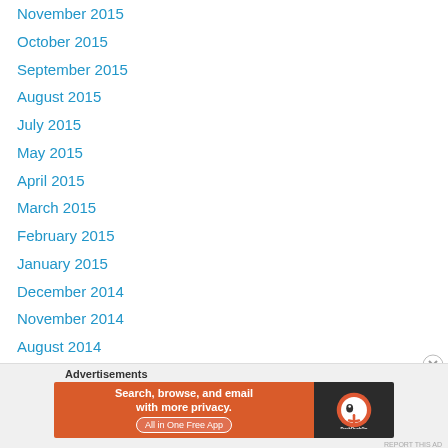November 2015
October 2015
September 2015
August 2015
July 2015
May 2015
April 2015
March 2015
February 2015
January 2015
December 2014
November 2014
August 2014
July 2014
June 2014
May 2014
[Figure (screenshot): DuckDuckGo advertisement banner: orange section says 'Search, browse, and email with more privacy. All in One Free App', dark section shows DuckDuckGo logo]
REPORT THIS AD